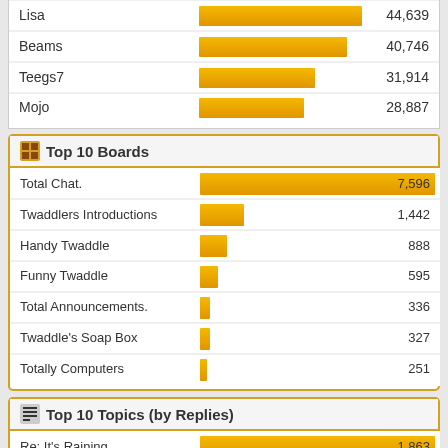[Figure (bar-chart): Top users (partial)]
Top 10 Boards
[Figure (bar-chart): Top 10 Boards]
Top 10 Topics (by Replies)
[Figure (bar-chart): Top 10 Topics (by Replies)]